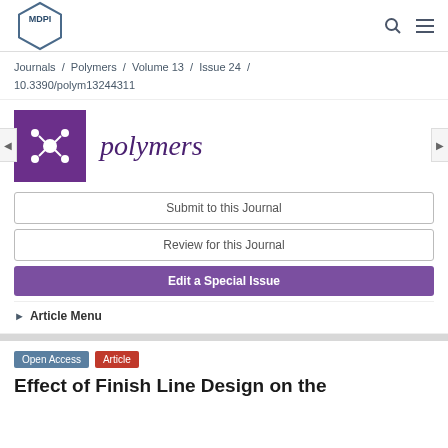[Figure (logo): MDPI logo - hexagonal shape with 'MDPI' text inside]
Journals / Polymers / Volume 13 / Issue 24 / 10.3390/polym13244311
[Figure (logo): Polymers journal logo - purple square with molecular structure icon, and italic 'polymers' text]
Submit to this Journal
Review for this Journal
Edit a Special Issue
► Article Menu
Open Access  Article
Effect of Finish Line Design on the